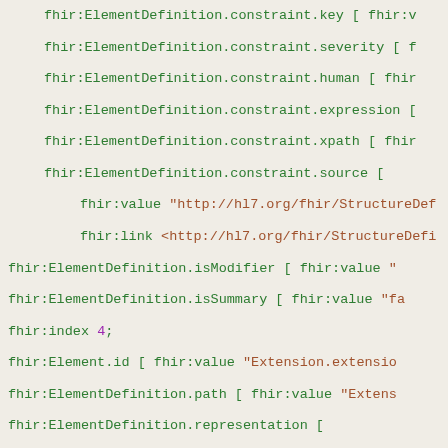fhir:ElementDefinition.constraint.key [ fhir:v...
fhir:ElementDefinition.constraint.severity [ f...
fhir:ElementDefinition.constraint.human [ fhir...
fhir:ElementDefinition.constraint.expression [
fhir:ElementDefinition.constraint.xpath [ fhir...
fhir:ElementDefinition.constraint.source [
fhir:value "http://hl7.org/fhir/StructureDef...
fhir:link <http://hl7.org/fhir/StructureDefi...
fhir:ElementDefinition.isModifier [ fhir:value "...
fhir:ElementDefinition.isSummary [ fhir:value "fa...
fhir:index 4;
fhir:Element.id [ fhir:value "Extension.extensio...
fhir:ElementDefinition.path [ fhir:value "Extens...
fhir:ElementDefinition.representation [
fhir:value "xmlAttr";
fhir:index 0       ];
fhir:ElementDefinition.short [ fhir:value "Uniqu...
fhir:ElementDefinition.definition [ fhir:value "U...
fhir:ElementDefinition.min [ fhir:value "0"^^xsd...
fhir:ElementDefinition.max [ fhir:value "1" ];
fhir:ElementDefinition.base [
fhir:ElementDefinition.base.path [ fhir:value...
fhir:ElementDefinition.base.min [ fhir:value...